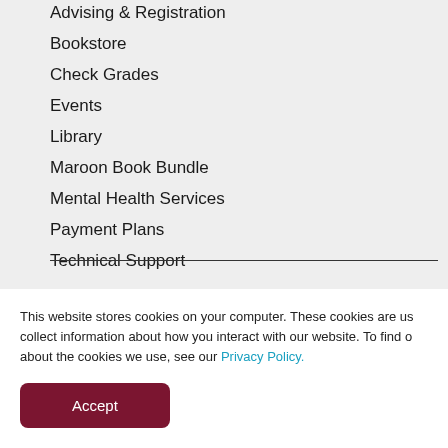Advising & Registration
Bookstore
Check Grades
Events
Library
Maroon Book Bundle
Mental Health Services
Payment Plans
Technical Support
FACULTY & STAFF
This website stores cookies on your computer. These cookies are us collect information about how you interact with our website. To find o about the cookies we use, see our Privacy Policy.